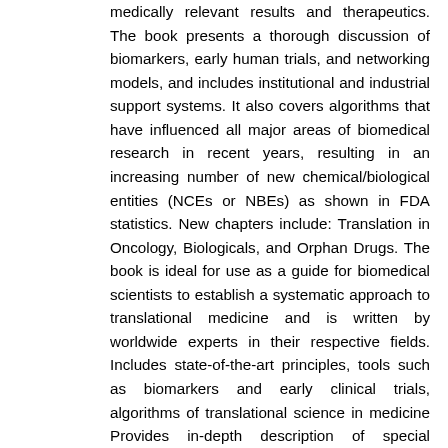medically relevant results and therapeutics. The book presents a thorough discussion of biomarkers, early human trials, and networking models, and includes institutional and industrial support systems. It also covers algorithms that have influenced all major areas of biomedical research in recent years, resulting in an increasing number of new chemical/biological entities (NCEs or NBEs) as shown in FDA statistics. New chapters include: Translation in Oncology, Biologicals, and Orphan Drugs. The book is ideal for use as a guide for biomedical scientists to establish a systematic approach to translational medicine and is written by worldwide experts in their respective fields. Includes state-of-the-art principles, tools such as biomarkers and early clinical trials, algorithms of translational science in medicine Provides in-depth description of special translational aspects in the currently most successful areas of clinical translation, namely oncology and immunology Covers status of institutionalization of translational medicine, networking structures and outcomes at the level of marketing authorization.